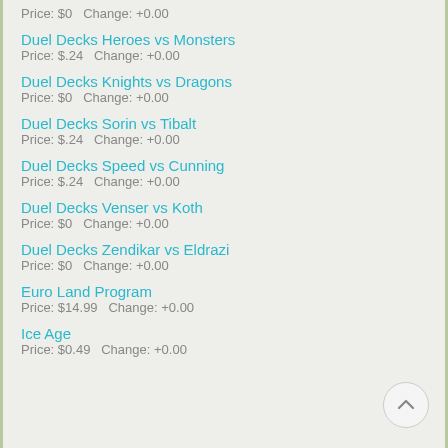Price: $0   Change: +0.00
Duel Decks Heroes vs Monsters
Price: $.24   Change: +0.00
Duel Decks Knights vs Dragons
Price: $0   Change: +0.00
Duel Decks Sorin vs Tibalt
Price: $.24   Change: +0.00
Duel Decks Speed vs Cunning
Price: $.24   Change: +0.00
Duel Decks Venser vs Koth
Price: $0   Change: +0.00
Duel Decks Zendikar vs Eldrazi
Price: $0   Change: +0.00
Euro Land Program
Price: $14.99   Change: +0.00
Ice Age
Price: $0.49   Change: +0.00